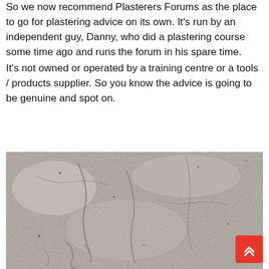So we now recommend Plasterers Forums as the place to go for plastering advice on its own. It's run by an independent guy, Danny, who did a plastering course some time ago and runs the forum in his spare time.
It's not owned or operated by a training centre or a tools / products supplier. So you know the advice is going to be genuine and spot on.
[Figure (photo): Close-up photograph of a plastered wall surface showing texture and marks in light grey/beige tones with dark streaks and imperfections.]